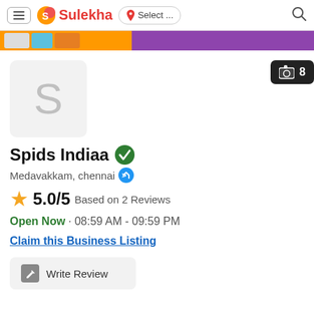Sulekha - Select ... (navigation bar with hamburger menu, logo, location selector, search icon)
[Figure (screenshot): Banner strip with orange and purple background showing thumbnail images]
[Figure (logo): Business placeholder logo showing letter S on grey background]
[Figure (other): Camera icon badge showing count 8]
Spids Indiaa
Medavakkam, chennai
5.0/5 Based on 2 Reviews
Open Now · 08:59 AM - 09:59 PM
Claim this Business Listing
Write Review